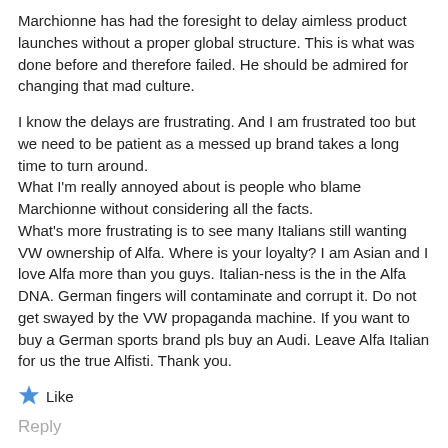Marchionne has had the foresight to delay aimless product launches without a proper global structure. This is what was done before and therefore failed. He should be admired for changing that mad culture.
I know the delays are frustrating. And I am frustrated too but we need to be patient as a messed up brand takes a long time to turn around.
What I'm really annoyed about is people who blame Marchionne without considering all the facts.
What's more frustrating is to see many Italians still wanting VW ownership of Alfa. Where is your loyalty? I am Asian and I love Alfa more than you guys. Italian-ness is the in the Alfa DNA. German fingers will contaminate and corrupt it. Do not get swayed by the VW propaganda machine. If you want to buy a German sports brand pls buy an Audi. Leave Alfa Italian for us the true Alfisti. Thank you.
Like
Reply